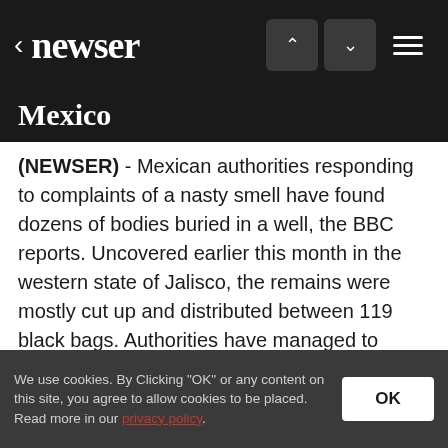newser
Mexico
(NEWSER) - Mexican authorities responding to complaints of a nasty smell have found dozens of bodies buried in a well, the BBC reports. Uncovered earlier this month in the western state of Jalisco, the remains were mostly cut up and distributed between 119 black bags. Authorities have managed to identify 44 of...
We use cookies. By Clicking "OK" or any content on this site, you agree to allow cookies to be placed. Read more in our privacy policy.